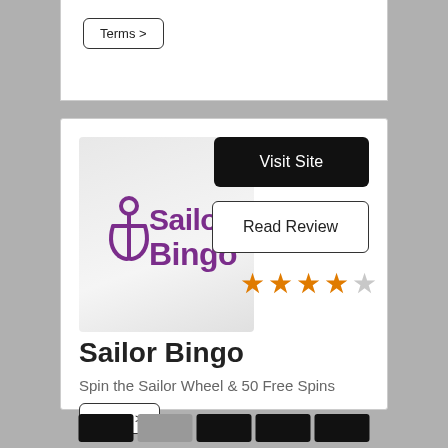Terms >
[Figure (logo): Sailor Bingo logo: purple text 'Sailor Bingo' with anchor icon on light grey background]
Visit Site
Read Review
★★★★☆ (4 out of 5 stars)
Sailor Bingo
Spin the Sailor Wheel & 50 Free Spins
Terms >